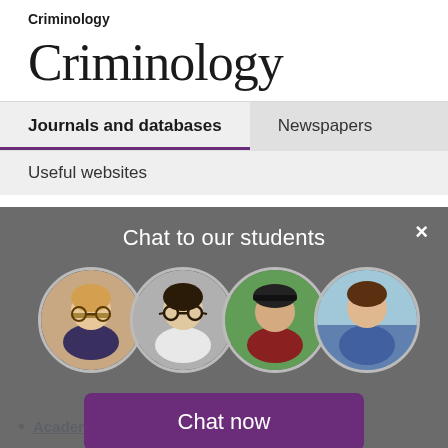Criminology
Criminology
Journals and databases
Newspapers
Useful websites
[Figure (screenshot): Chat to our students overlay with four circular student profile photos and a purple 'Chat now' button. A close (×) button appears in the top right corner.]
Academic Search Premier is a large